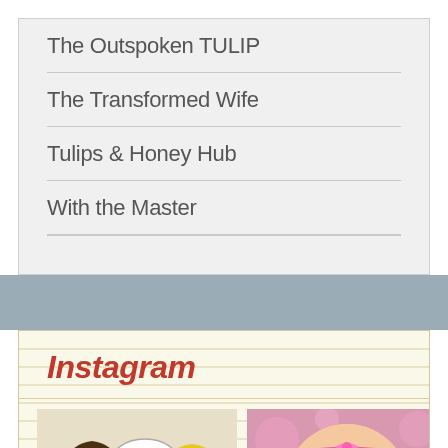The Outspoken TULIP
The Transformed Wife
Tulips & Honey Hub
With the Master
Instagram
[Figure (illustration): Two cartoon-style illustrated figures (a man and a woman) with music notes in a speech bubble between them, and a woman with blonde hair on the right side.]
[Figure (photo): Photo of a young baby or toddler with a pink headband or bow, close-up face shot.]